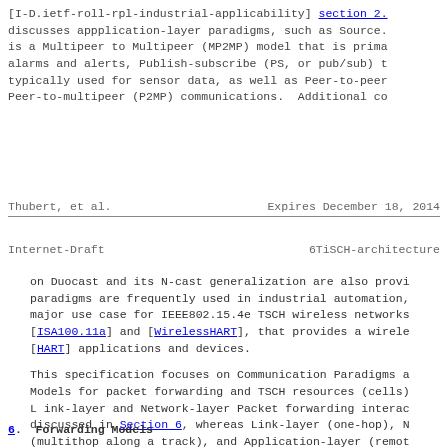[I-D.ietf-roll-rpl-industrial-applicability] section 2. discusses appplication-layer paradigms, such as Source... is a Multipeer to Multipeer (MP2MP) model that is prima... alarms and alerts, Publish-subscribe (PS, or pub/sub) t... typically used for sensor data, as well as Peer-to-peer... Peer-to-multipeer (P2MP) communications. Additional co...
Thubert, et al.    Expires December 18, 2014
Internet-Draft    6TiSCH-architecture
on Duocast and its N-cast generalization are also provi... paradigms are frequently used in industrial automation, major use case for IEEE802.15.4e TSCH wireless networks [ISA100.11a] and [WirelessHART], that provides a wirele... [HART] applications and devices.
This specification focuses on Communication Paradigms a... Models for packet forwarding and TSCH resources (cells)... L ink-layer and Network-layer Packet forwarding interac... discussed in Section 6, whereas Link-layer (one-hop), N... (multithop along a track), and Application-layer (remot... management mechanisms for the TSCH schedule are discuss... Section 8.
6. Forwarding Models